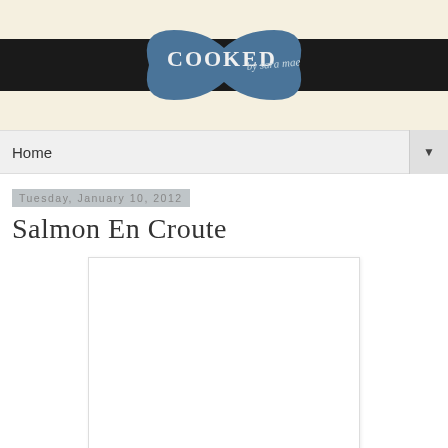[Figure (logo): Blog header banner with cream background, black horizontal bar, and blue bow-tie shaped logo reading 'COOKED by sara mae']
Home
Tuesday, January 10, 2012
Salmon En Croute
[Figure (photo): Large white/empty image placeholder with light border]